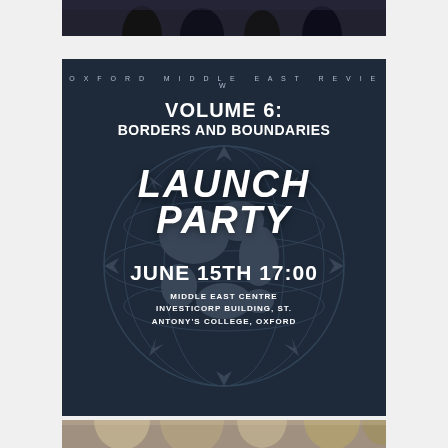[Figure (photo): Partial photo at top showing dark silhouettes of people]
[Figure (infographic): Oxford Middle East Review Volume 6: Borders and Boundaries Launch Party poster. Dark navy background with globe/map graphic. Text: OXFORD MIDDLE EAST REVIEW, VOLUME 6: BORDERS AND BOUNDARIES, LAUNCH PARTY, JUNE 15TH 17:00, MIDDLE EAST CENTRE INVESTICORP BUILDING, ST. ANTONY'S COLLEGE, OXFORD]
[Figure (photo): Partial photo at bottom showing crowd of people]